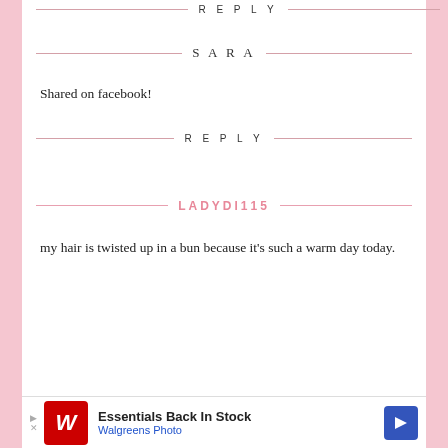REPLY
SARA
Shared on facebook!
REPLY
LADYDI115
my hair is twisted up in a bun because it's such a warm day today.
[Figure (infographic): Walgreens Photo advertisement banner: red W logo, text 'Essentials Back In Stock', 'Walgreens Photo', blue diamond arrow icon]